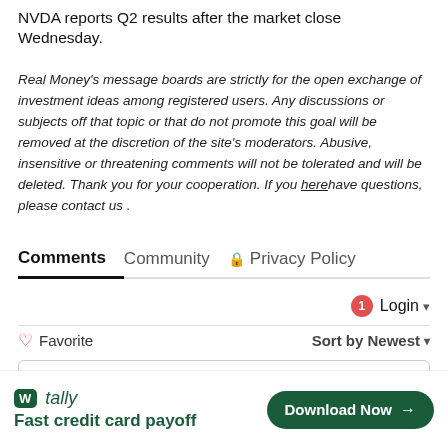NVDA reports Q2 results after the market close Wednesday.
Real Money's message boards are strictly for the open exchange of investment ideas among registered users. Any discussions or subjects off that topic or that do not promote this goal will be removed at the discretion of the site's moderators. Abusive, insensitive or threatening comments will not be tolerated and will be deleted. Thank you for your cooperation. If you here have questions, please contact us .
Comments  Community  Privacy Policy
1  Login
♡ Favorite   Sort by Newest
Start the discussion...
[Figure (screenshot): Tally app advertisement banner: 'Fast credit card payoff' with Download Now button]